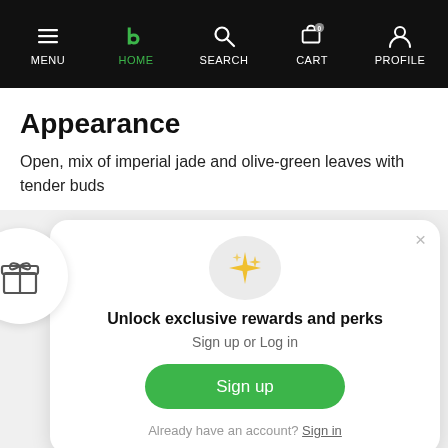MENU | HOME | SEARCH | CART | PROFILE
Appearance
Open, mix of imperial jade and olive-green leaves with tender buds
[Figure (screenshot): Modal popup with sparkle icon, 'Unlock exclusive rewards and perks' heading, 'Sign up or Log in' subtitle, a green 'Sign up' button, and 'Already have an account? Sign in' link. A gift box icon circle appears on the left edge.]
Unlock exclusive rewards and perks
Sign up or Log in
Sign up
Already have an account? Sign in